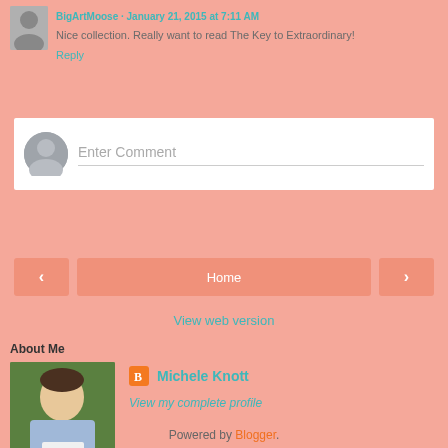Nice collection. Really want to read The Key to Extraordinary!
Reply
Enter Comment
Home
View web version
About Me
Michele Knott
View my complete profile
Powered by Blogger.